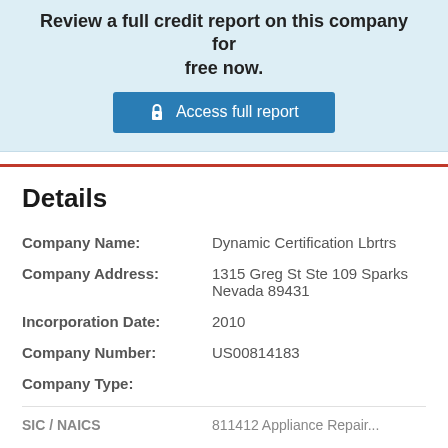Review a full credit report on this company for free now.
Access full report
Details
| Field | Value |
| --- | --- |
| Company Name: | Dynamic Certification Lbrtrs |
| Company Address: | 1315 Greg St Ste 109 Sparks Nevada 89431 |
| Incorporation Date: | 2010 |
| Company Number: | US00814183 |
| Company Type: |  |
| SIC / NAICS | 811412 Appliance Repair... |